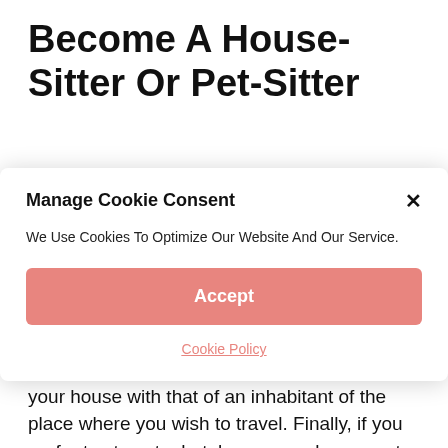Become A House-Sitter Or Pet-Sitter
Manage Cookie Consent
We Use Cookies To Optimize Our Website And Our Service.
Accept
Cookie Policy
And in the logical continuation of home-sitting, you can also try home exchange, which consists, as its name suggests, of exchanging your house with that of an inhabitant of the place where you wish to travel. Finally, if you prefer to stay at a hotel, you can always rent your accommodation while you are away to have a